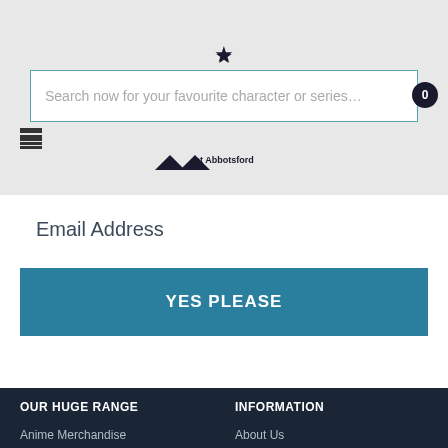[Figure (screenshot): Website header with hamburger menu icon, logo with crown/star icon and 'at Abbotsford' text, search bar with placeholder text 'Search now for your favourite character or series...' and a cart icon showing 0]
Email Address
YES PLEASE
OUR HUGE RANGE
INFORMATION
Anime Merchandise
About Us